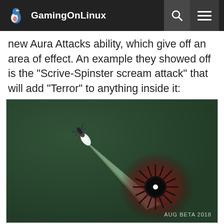GamingOnLinux
new Aura Attacks ability, which give off an area of effect. An example they showed off is the "Scrive-Spinster scream attack" that will add "Terror" to anything inside it:
[Figure (screenshot): In-game screenshot showing a spaceship-like creature firing a glowing beam at a dark spiky creature surrounded by a reddish aura glow on a dark green background. Watermark reads AUG BETA 2018.]
Some description continues at the bottom (partially visible)